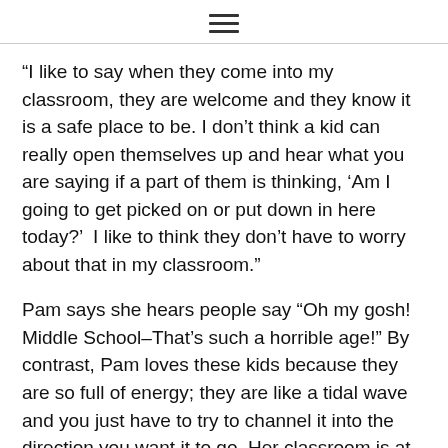≡
“I like to say when they come into my classroom, they are welcome and they know it is a safe place to be. I don’t think a kid can really open themselves up and hear what you are saying if a part of them is thinking, ‘Am I going to get picked on or put down in here today?’  I like to think they don’t have to worry about that in my classroom.”
Pam says she hears people say “Oh my gosh! Middle School–That’s such a horrible age!” By contrast, Pam loves these kids because they are so full of energy; they are like a tidal wave and you just have to try to channel it into the direction you want it to go. Her classroom is at the very end of the hall where the buses come and go. Every single kid who rides the bus has to